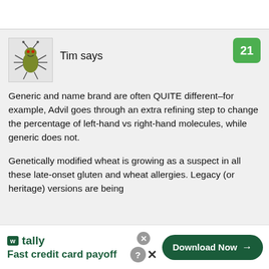Tim says
Generic and name brand are often QUITE different–for example, Advil goes through an extra refining step to change the percentage of left-hand vs right-hand molecules, while generic does not.

Genetically modified wheat is growing as a suspect in all these late-onset gluten and wheat allergies. Legacy (or heritage) versions are being
[Figure (illustration): Cartoon bug/insect character illustration used as user avatar]
Fast credit card payoff
[Figure (logo): Tally app logo with green background square icon and tally text]